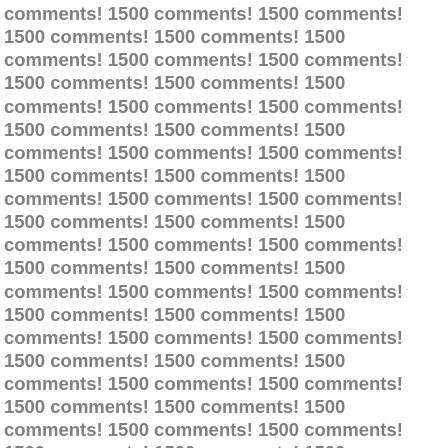comments! 1500 comments! 1500 comments! 1500 comments! 1500 comments! 1500 comments! 1500 comments! 1500 comments! 1500 comments! 1500 comments! 1500 comments! 1500 comments! 1500 comments! 1500 comments! 1500 comments! 1500 comments! 1500 comments! 1500 comments! 1500 comments! 1500 comments! 1500 comments! 1500 comments! 1500 comments! 1500 comments! 1500 comments! 1500 comments! 1500 comments! 1500 comments! 1500 comments! 1500 comments! 1500 comments! 1500 comments! 1500 comments! 1500 comments! 1500 comments! 1500 comments! 1500 comments! 1500 comments! 1500 comments! 1500 comments! 1500 comments! 1500 comments! 1500 comments! 1500 comments! 1500 comments! 1500 comments! 1500 comments! 1500 comments! 1500 comments! 1500 comments! 1500 comments! 1500 comments! 1500 comments! 1500 comments! 1500 comments! 1500 comments! 1500 comments! 1500 comments! 1500 comments! 1500 comments! 1500 comments! 1500 comments! 1500 comments! 1500 comments! 1500 comments! 1500